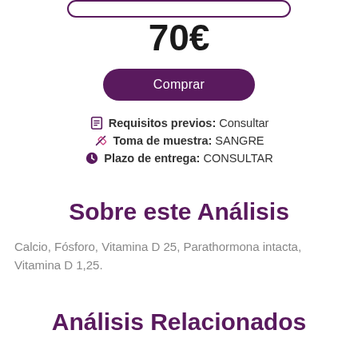[Figure (other): Partial rounded rectangle border (top card) cut off at top of page]
70€
Comprar
Requisitos previos: Consultar
Toma de muestra: SANGRE
Plazo de entrega: CONSULTAR
Sobre este Análisis
Calcio, Fósforo, Vitamina D 25, Parathormona intacta, Vitamina D 1,25.
Análisis Relacionados